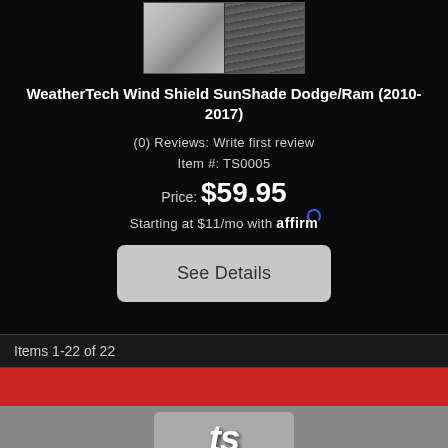[Figure (photo): Product image of WeatherTech Wind Shield SunShade showing two side-by-side views: silver/chrome sunshade on left, dark ribbed sunshade on right]
WeatherTech Wind Shield SunShade Dodge/Ram (2010-2017)
(0) Reviews: Write first review
Item #: TS0005
Price: $59.95
Starting at $11/mo with affirm
See Details
Items 1-22 of 22
[Figure (logo): Partially visible logo in gray/silver section at bottom of page]